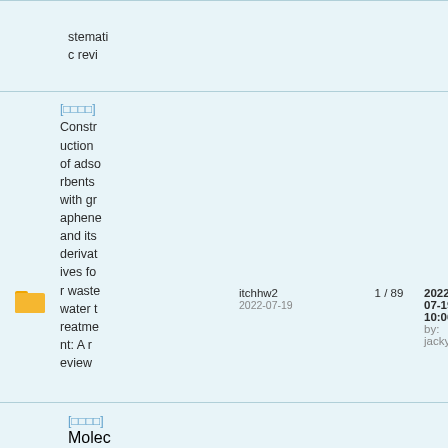stematic review
[□□□□] Construction of adsorbents with graphene and its derivatives for wastewater treatment: A review
itchhw2 2022-07-19
1 / 89
2022-07-19 10:06 by: jackyzfy
[□□□□] Molec